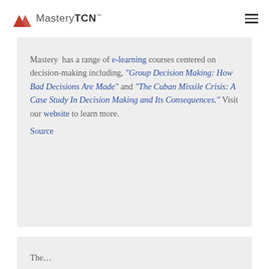MasteryTCN
Mastery has a range of e-learning courses centered on decision-making including, "Group Decision Making: How Bad Decisions Are Made" and "The Cuban Missile Crisis: A Case Study In Decision Making and Its Consequences." Visit our website to learn more.
Source
The...